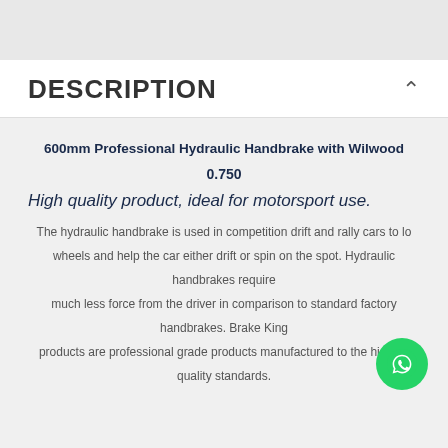DESCRIPTION
600mm Professional Hydraulic Handbrake with Wilwood
0.750
High quality product, ideal for motorsport use.
The hydraulic handbrake is used in competition drift and rally cars to lock wheels and help the car either drift or spin on the spot. Hydraulic handbrakes require much less force from the driver in comparison to standard factory handbrakes. Brake King products are professional grade products manufactured to the highest quality standards.